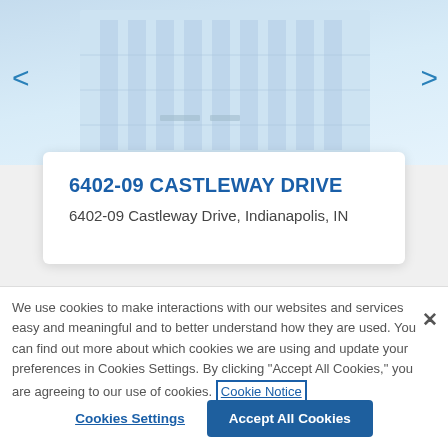[Figure (photo): Light blue building/interior background image used as carousel slide for property listing]
6402-09 CASTLEWAY DRIVE
6402-09 Castleway Drive, Indianapolis, IN
We use cookies to make interactions with our websites and services easy and meaningful and to better understand how they are used. You can find out more about which cookies we are using and update your preferences in Cookies Settings. By clicking "Accept All Cookies," you are agreeing to our use of cookies. Cookie Notice
Cookies Settings
Accept All Cookies